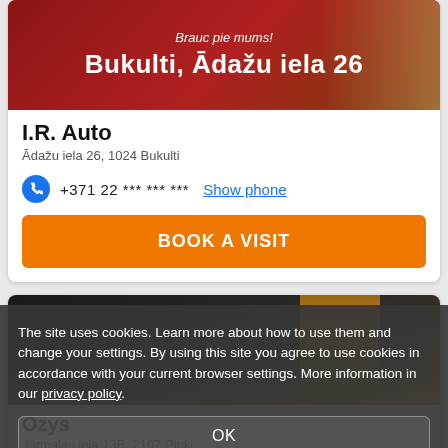[Figure (photo): Banner image with dark red background and fence/building visible on right, text overlay reading 'Brauc pie mums!' and 'Bukulti, Ādažu iela 26']
I.R. Auto
Ādažu iela 26, 1024 Bukulti
+371 22 *** *** ***  Show phone
BOOK A VISIT
[Figure (photo): Close-up photo of motor oil being poured into a car engine, dark background with golden oil stream]
Ozys
Jūrmalas iela 13B, 2107 Pinki
The site uses cookies. Learn more about how to use them and change your settings. By using this site you agree to use cookies in accordance with your current browser settings. More information in our privacy policy.
OK